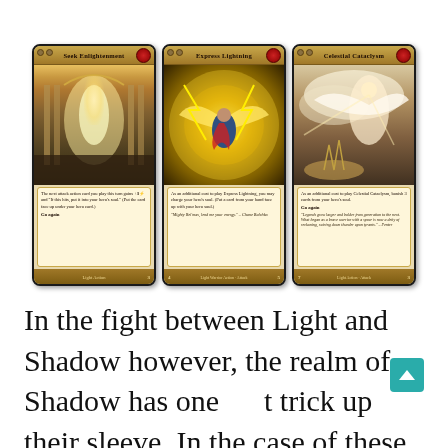[Figure (illustration): Three trading cards from a fantasy card game displayed side by side. Left card: 'Seek Enlightenment' - a Light Action card showing a grand illuminated hall with figures, cost 2, defense 3. Center card: 'Express Lightning' - a Light Warrior Action Attack card showing a flying warrior with wings amid lightning, cost 4, power 5. Right card: 'Celestial Cataclysm' - a Light Action Attack card showing an angelic figure amid clouds, cost 7, power 3.]
In the fight between Light and Shadow however, the realm of Shadow has one trick up their sleeve. In the case of these